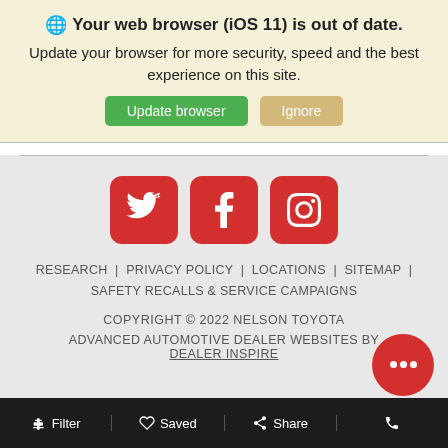🌐 Your web browser (iOS 11) is out of date.
Update your browser for more security, speed and the best experience on this site.
Update browser | Ignore
[Figure (illustration): Three red rounded square social media icons for Twitter, Facebook, and Instagram arranged in a row.]
RESEARCH | PRIVACY POLICY | LOCATIONS | SITEMAP | SAFETY RECALLS & SERVICE CAMPAIGNS
COPYRIGHT © 2022 NELSON TOYOTA
ADVANCED AUTOMOTIVE DEALER WEBSITES BY DEALER INSPIRE
Filter | Saved | Share | (phone)